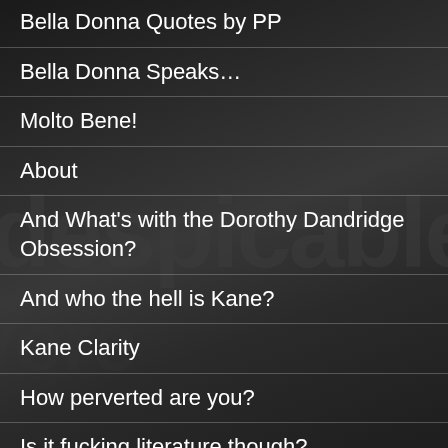Bella Donna Quotes by PP
Bella Donna Speaks…
Molto Bene!
About
And What’s with the Dorothy Dandridge Obsession?
And who the hell is Kane?
Kane Clarity
How perverted are you?
Is it fucking literature though?
Okay, You Trippin’ What is DMUK?